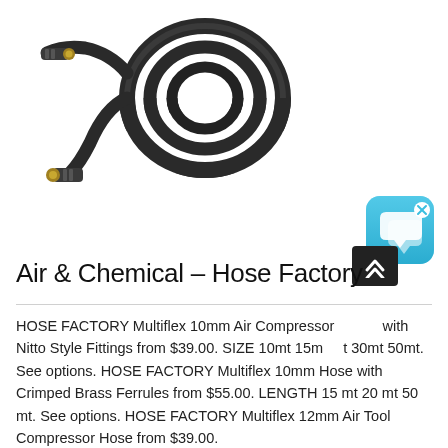[Figure (photo): Product photo of a black coiled air compressor hose with brass fittings on both ends, shown uncoiled with connectors visible.]
[Figure (other): Blue rounded-square chat/messaging app icon with speech bubble graphic and a small 'x' close button in the top-right corner.]
Air & Chemical – Hose Factory
HOSE FACTORY Multiflex 10mm Air Compressor Hose with Nitto Style Fittings from $39.00. SIZE 10mt 15mt 30mt 50mt. See options. HOSE FACTORY Multiflex 10mm Hose with Crimped Brass Ferrules from $55.00. LENGTH 15 mt 20 mt 50 mt. See options. HOSE FACTORY Multiflex 12mm Air Tool Compressor Hose from $39.00.